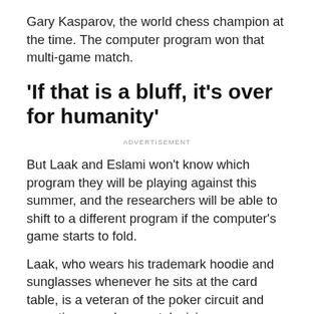Gary Kasparov, the world chess champion at the time. The computer program won that multi-game match.
'If that is a bluff, it's over for humanity'
ADVERTISEMENT
But Laak and Eslami won't know which program they will be playing against this summer, and the researchers will be able to shift to a different program if the computer's game starts to fold.
Laak, who wears his trademark hoodie and sunglasses whenever he sits at the card table, is a veteran of the poker circuit and sometimes works as a television commentator.